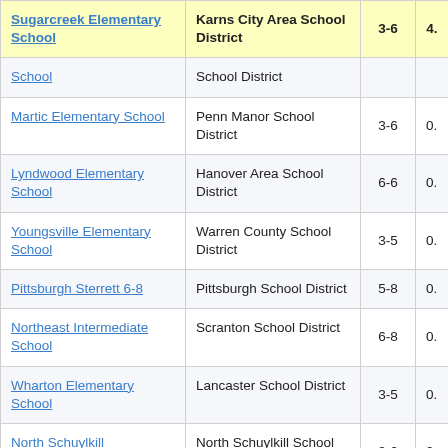| School Name | District | Grades |  |
| --- | --- | --- | --- |
| Sugarcreek Elementary School | Karns City Area School District | 3-6 | 4. |
| School | School District |  |  |
| Martic Elementary School | Penn Manor School District | 3-6 | 0. |
| Lyndwood Elementary School | Hanover Area School District | 6-6 | 0. |
| Youngsville Elementary School | Warren County School District | 3-5 | 0. |
| Pittsburgh Sterrett 6-8 | Pittsburgh School District | 5-8 | 0. |
| Northeast Intermediate School | Scranton School District | 6-8 | 0. |
| Wharton Elementary School | Lancaster School District | 3-5 | 0. |
| North Schuylkill Elementary School | North Schuylkill School District | 3-6 | 0. |